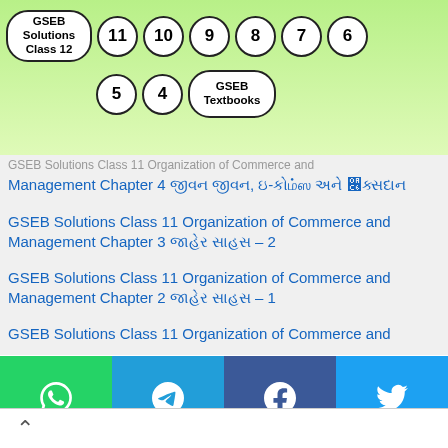GSEB Solutions Class 12 | 11 | 10 | 9 | 8 | 7 | 6 | 5 | 4 | GSEB Textbooks
GSEB Solutions Class 12 Organization of Commerce and Management Chapter 4 [Gujarati text], e-[Gujarati] and [Gujarati]
GSEB Solutions Class 11 Organization of Commerce and Management Chapter 3 [Gujarati] [Gujarati] – 2
GSEB Solutions Class 11 Organization of Commerce and Management Chapter 2 [Gujarati] [Gujarati] – 1
GSEB Solutions Class 11 Organization of Commerce and Management
[Figure (infographic): Social share buttons for WhatsApp, Telegram, Facebook, Twitter]
[Figure (infographic): Advertisement banner with HC logo, directions or call your salon text, Walk-Ins Available, and navigation icon]